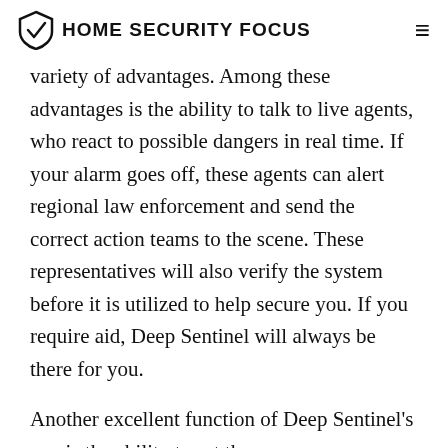HOME SECURITY FOCUS
variety of advantages. Among these advantages is the ability to talk to live agents, who react to possible dangers in real time. If your alarm goes off, these agents can alert regional law enforcement and send the correct action teams to the scene. These representatives will also verify the system before it is utilized to help secure you. If you require aid, Deep Sentinel will always be there for you.
Another excellent function of Deep Sentinel's app is the ability to set the